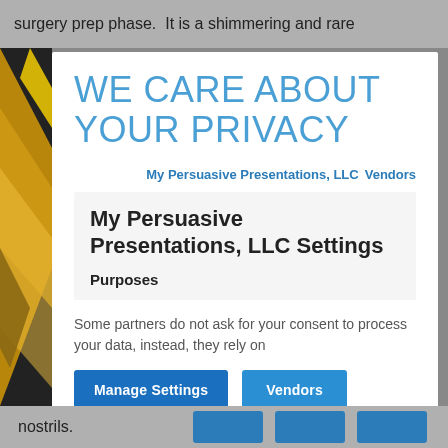surgery prep phase.  It is a shimmering and rare
WE CARE ABOUT YOUR PRIVACY
My Persuasive Presentations, LLC   Vendors
My Persuasive Presentations, LLC Settings
Purposes
Some partners do not ask for your consent to process your data, instead, they rely on
Manage Settings
Vendors
nostrils.